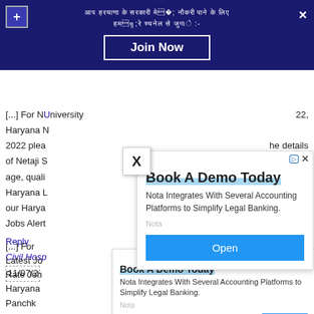[Figure (screenshot): Dark blue top banner with plus button, close X, Hindi text, and 'Join Now' button]
[...] For N University  22, Haryana N 2022 please the details of Netaji S form, age, quali ant to get Haryana L na join our Harya r Haryana Jobs Alert
Reply
Civil Hosp ob says:
11/07/2
[...] For Panchkula Latest Jo Nigam Rate Joh Haryana hospital Panchk tion
[Figure (screenshot): Small X popup overlay]
[Figure (screenshot): Large ad overlay: Book A Demo Today - Nota Integrates With Several Accounting Platforms to Simplify Legal Banking. Open button.]
[Figure (screenshot): Small bottom ad overlay: Book A Demo Today - Nota Integrates With Several Accounting Platforms to Simplify Legal Banking. Open button.]